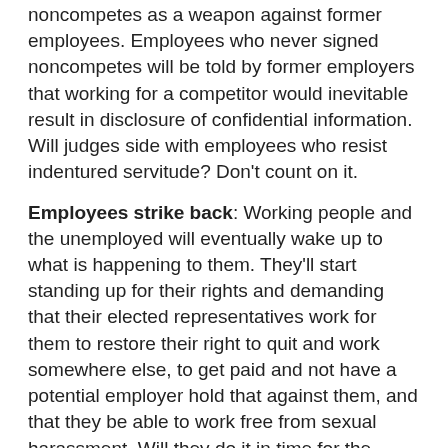noncompetes as a weapon against former employees. Employees who never signed noncompetes will be told by former employers that working for a competitor would inevitable result in disclosure of confidential information. Will judges side with employees who resist indentured servitude? Don't count on it.
Employees strike back: Working people and the unemployed will eventually wake up to what is happening to them. They'll start standing up for their rights and demanding that their elected representatives work for them to restore their right to quit and work somewhere else, to get paid and not have a potential employer hold that against them, and that they be able to work free from sexual harassment. Will they do it in time for the November election? Ask again later.
Donna Ballman at 8:30 AM    2 comments:
Share
Friday, December 23, 2011
HOW to Hire Anyone: Are These Stockbroker...